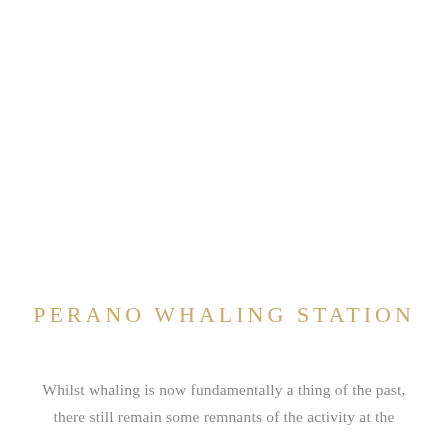PERANO WHALING STATION
Whilst whaling is now fundamentally a thing of the past, there still remain some remnants of the activity at the